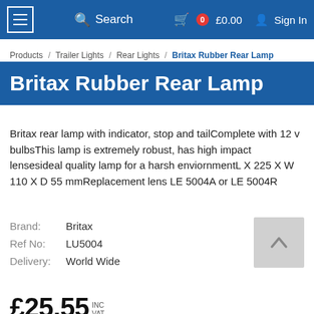Search  0  £0.00  Sign In
Products / Trailer Lights / Rear Lights / Britax Rubber Rear Lamp
Britax Rubber Rear Lamp
Britax rear lamp with indicator, stop and tailComplete with 12 v bulbsThis lamp is extremely robust, has high impact lensesideal quality lamp for a harsh enviornmentL X 225 X W 110 X D 55 mmReplacement lens LE 5004A or LE 5004R
Brand: Britax
Ref No: LU5004
Delivery: World Wide
£25.55 INC VAT